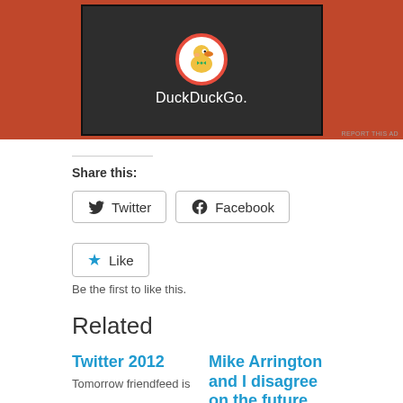[Figure (screenshot): DuckDuckGo advertisement banner with dark grey center box showing DuckDuckGo logo (duck mascot in white circle) and 'DuckDuckGo.' text in white, set against an orange-red background. 'REPORT THIS AD' text in small grey at bottom right.]
Share this:
Twitter  Facebook
Like
Be the first to like this.
Related
Twitter 2012
Tomorrow friendfeed is
Mike Arrington and I disagree on the future